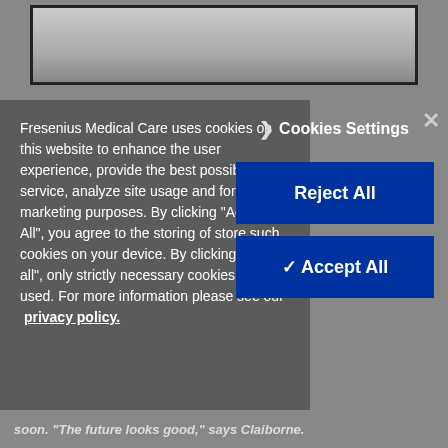[Figure (photo): Framed photo at top of page, partially visible, showing a dark-bordered frame on a gray background.]
Fresenius Medical Care uses cookies on this website to enhance the user experience, provide the best possible service, analyze site usage and for marketing purposes. By clicking “Accept All”, you agree to the storing of store such cookies on your device. By clicking “Reject all”, only strictly necessary cookies will be used. For more information please see our privacy policy.
❯ Cookies Settings
Reject All
✓ Accept All
soon. “The future looks good,” says Claiborne.